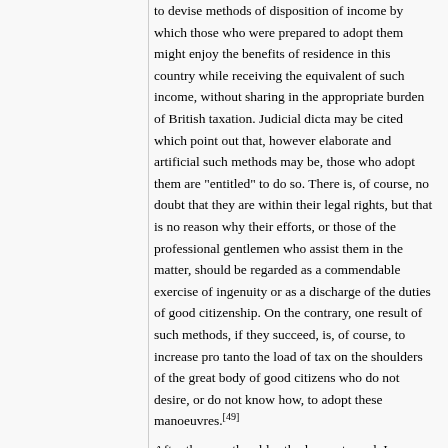to devise methods of disposition of income by which those who were prepared to adopt them might enjoy the benefits of residence in this country while receiving the equivalent of such income, without sharing in the appropriate burden of British taxation. Judicial dicta may be cited which point out that, however elaborate and artificial such methods may be, those who adopt them are "entitled" to do so. There is, of course, no doubt that they are within their legal rights, but that is no reason why their efforts, or those of the professional gentlemen who assist them in the matter, should be regarded as a commendable exercise of ingenuity or as a discharge of the duties of good citizenship. On the contrary, one result of such methods, if they succeed, is, of course, to increase pro tanto the load of tax on the shoulders of the great body of good citizens who do not desire, or do not know how, to adopt these manoeuvres.[49]
After the war, the old orthodoxy returned. In